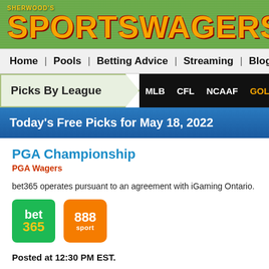SHERWOOD'S SPORTSWAGERS.CA
Home | Pools | Betting Advice | Streaming | Blogs | L
Picks By League  MLB  CFL  NCAAF  GOLF  NR
Today's Free Picks for May 18, 2022
PGA Championship
PGA Wagers
bet365 operates pursuant to an agreement with iGaming Ontario.
[Figure (logo): bet365 logo - green rounded square with 'bet' in white and '365' in yellow]
[Figure (logo): 888sport logo - orange rounded square with '888' in white and 'sport' in white]
Posted at 12:30 PM EST.
PGA Championship